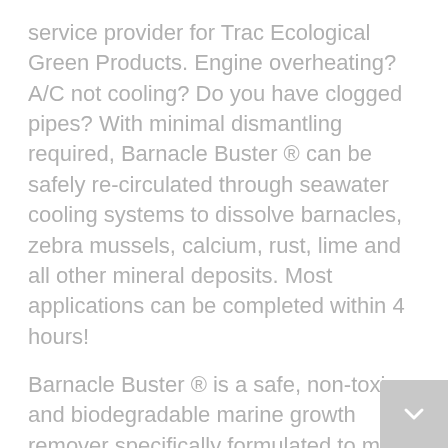service provider for Trac Ecological Green Products. Engine overheating? A/C not cooling? Do you have clogged pipes? With minimal dismantling required, Barnacle Buster ® can be safely re-circulated through seawater cooling systems to dissolve barnacles, zebra mussels, calcium, rust, lime and all other mineral deposits. Most applications can be completed within 4 hours!
Barnacle Buster ® is a safe, non-toxic and biodegradable marine growth remover specifically formulated to meet an industry wide need. We have been very pleased with the results. We also carry and recommend Trac's GreenClean Boat Soap® for a rich foam that thoroughly cleans fiberglass, vinyl, teak, aluminum, varnish, canvas, sails, bilges, windows, fish boxes and polished